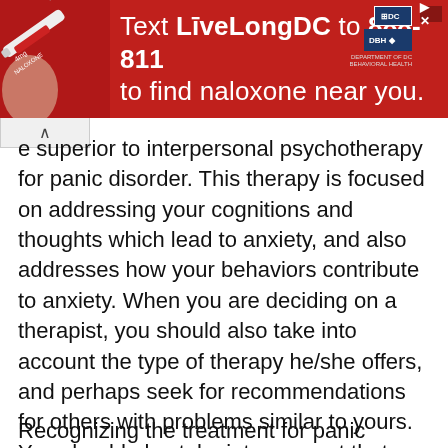[Figure (infographic): Red advertisement banner: Text LiveLongDC to 888-811 to find naloxone near you, with DC government and DBH logos, and a photo of medical supplies on the left.]
superior to interpersonal psychotherapy for panic disorder. This therapy is focused on addressing your cognitions and thoughts which lead to anxiety, and also addresses how your behaviors contribute to anxiety. When you are deciding on a therapist, you should also take into account the type of therapy he/she offers, and perhaps seek for recommendations for others with problems similar to yours. You should also take into account that each condition is unique, and different therapists are specialized in different fields, and it is best to look for the ones who have successfully treated cases similar to yours.
Recognizing the treatment for panic disorder is...